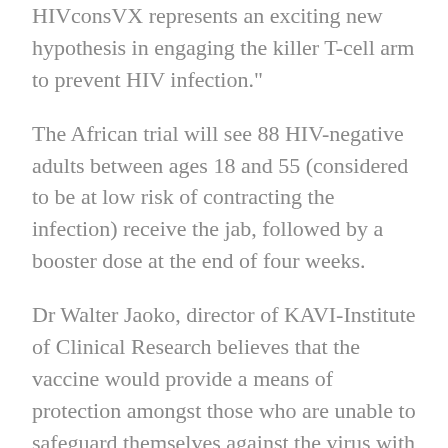HIVconsVX represents an exciting new hypothesis in engaging the killer T-cell arm to prevent HIV infection."
The African trial will see 88 HIV-negative adults between ages 18 and 55 (considered to be at low risk of contracting the infection) receive the jab, followed by a booster dose at the end of four weeks.
Dr Walter Jaoko, director of KAVI-Institute of Clinical Research believes that the vaccine would provide a means of protection amongst those who are unable to safeguard themselves against the virus with preventive measures.